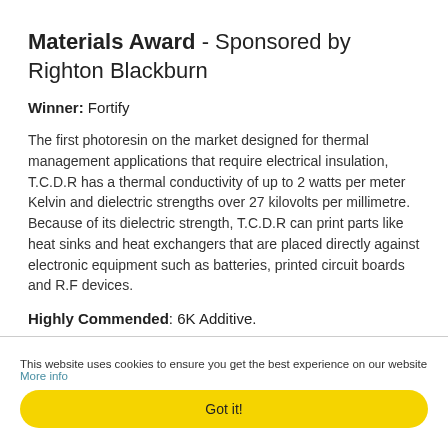Materials Award - Sponsored by Righton Blackburn
Winner: Fortify
The first photoresin on the market designed for thermal management applications that require electrical insulation, T.C.D.R has a thermal conductivity of up to 2 watts per meter Kelvin and dielectric strengths over 27 kilovolts per millimetre. Because of its dielectric strength, T.C.D.R can print parts like heat sinks and heat exchangers that are placed directly against electronic equipment such as batteries, printed circuit boards and R.F devices.
Highly Commended: 6K Additive.
This website uses cookies to ensure you get the best experience on our website More info